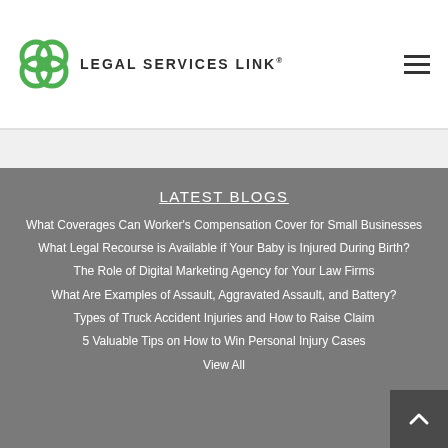[Figure (logo): Legal Services Link logo with green interlocking rings icon and company name text]
LATEST BLOGS
What Coverages Can Worker's Compensation Cover for Small Businesses
What Legal Recourse is Available if Your Baby is Injured During Birth?
The Role of Digital Marketing Agency for Your Law Firms
What Are Examples of Assault, Aggravated Assault, and Battery?
Types of Truck Accident Injuries and How to Raise Claim
5 Valuable Tips on How to Win Personal Injury Cases
View All